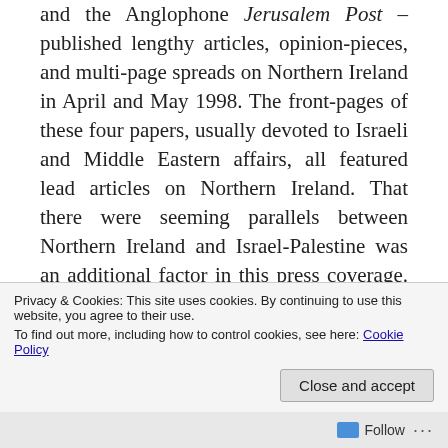and the Anglophone Jerusalem Post – published lengthy articles, opinion-pieces, and multi-page spreads on Northern Ireland in April and May 1998. The front-pages of these four papers, usually devoted to Israeli and Middle Eastern affairs, all featured lead articles on Northern Ireland. That there were seeming parallels between Northern Ireland and Israel-Palestine was an additional factor in this press coverage. Indeed, much of the Israeli press coverage of the Good Friday Agreement drew on shared vocabularies of religiously-inspired nationalist
Privacy & Cookies: This site uses cookies. By continuing to use this website, you agree to their use.
To find out more, including how to control cookies, see here: Cookie Policy
Follow